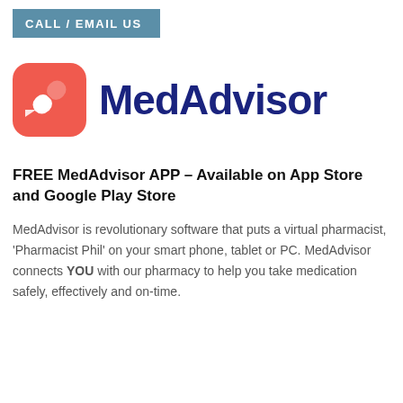CALL / EMAIL US
[Figure (logo): MedAdvisor logo: red rounded square with white pill/capsule icon and speech bubble, next to dark navy blue MedAdvisor wordmark]
FREE MedAdvisor APP – Available on App Store and Google Play Store
MedAdvisor is revolutionary software that puts a virtual pharmacist, 'Pharmacist Phil' on your smart phone, tablet or PC. MedAdvisor connects YOU with our pharmacy to help you take medication safely, effectively and on-time.